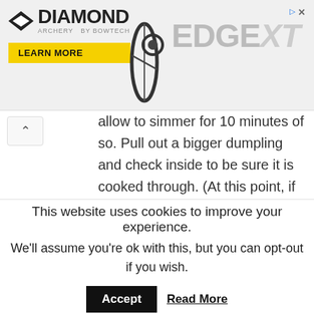[Figure (screenshot): Diamond Archery Edge XT advertisement banner with logo, bow image, and Learn More button]
allow to simmer for 10 minutes of so. Pull out a bigger dumpling and check inside to be sure it is cooked through. (At this point, if your mixture is looking way too thick, you can add some more chicken broth to thin it out. We like it thick though!)
11. Salt and pepper to taste and
This website uses cookies to improve your experience. We'll assume you're ok with this, but you can opt-out if you wish.
Accept  Read More